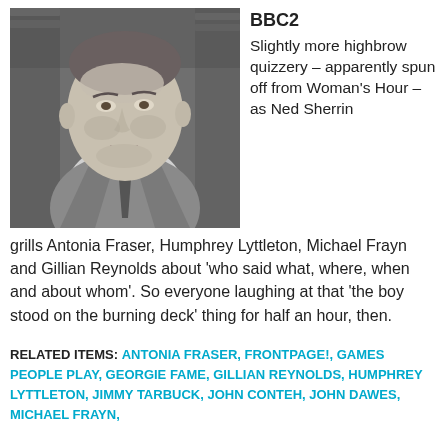[Figure (photo): Black and white portrait photo of a man in a suit and tie, looking slightly to the side, with a brick wall background.]
BBC2
Slightly more highbrow quizzery – apparently spun off from Woman's Hour – as Ned Sherrin grills Antonia Fraser, Humphrey Lyttleton, Michael Frayn and Gillian Reynolds about 'who said what, where, when and about whom'. So everyone laughing at that 'the boy stood on the burning deck' thing for half an hour, then.
RELATED ITEMS: ANTONIA FRASER, FRONTPAGE!, GAMES PEOPLE PLAY, GEORGIE FAME, GILLIAN REYNOLDS, HUMPHREY LYTTLETON, JIMMY TARBUCK, JOHN CONTEH, JOHN DAWES, MICHAEL FRAYN,